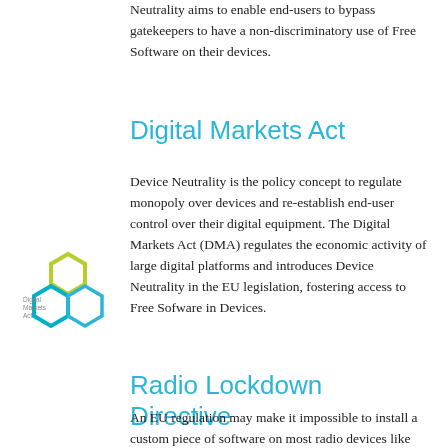Neutrality aims to enable end-users to bypass gatekeepers to have a non-discriminatory use of Free Software on their devices.
Digital Markets Act
[Figure (logo): Digital Markets Act logo — three interlocking hexagons in yellow-green, blue-green, and cyan colors with 'Digital Markets Act' text beside them]
Device Neutrality is the policy concept to regulate monopoly over devices and re-establish end-user control over their digital equipment. The Digital Markets Act (DMA) regulates the economic activity of large digital platforms and introduces Device Neutrality in the EU legislation, fostering access to Free Sofware in Devices.
Radio Lockdown Directive
An EU regulation may make it impossible to install a custom piece of software on most radio devices like WiFi routers, smartphones, and embedded devices. It requires hardware